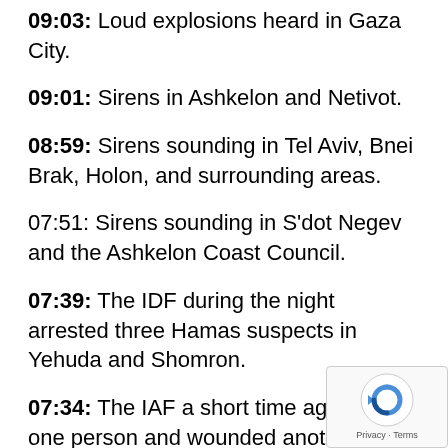09:03: Loud explosions heard in Gaza City.
09:01: Sirens in Ashkelon and Netivot.
08:59: Sirens sounding in Tel Aviv, Bnei Brak, Holon, and surrounding areas.
07:51: Sirens sounding in S'dot Negev and the Ashkelon Coast Council.
07:39: The IDF during the night arrested three Hamas suspects in Yehuda and Shomron.
07:34: The IAF a short time ago killed one person and wounded another in a Gaza “security building”. The identity of the terrorists targeted has not yet been announced.
07:30: Sirens sounding in Bnei Shimon and S’dot Negev.